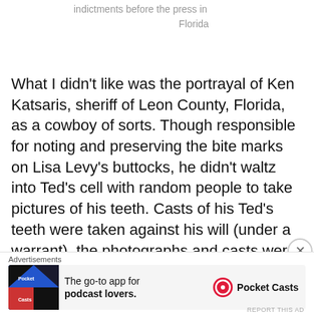indictments before the press in Florida
What I didn't like was the portrayal of Ken Katsaris, sheriff of Leon County, Florida, as a cowboy of sorts. Though responsible for noting and preserving the bite marks on Lisa Levy's buttocks, he didn't waltz into Ted's cell with random people to take pictures of his teeth. Casts of his Ted's teeth were taken against his will (under a warrant), the photographs and casts were taken by a qualified dentist in a dental chair. There are pictures of Ted having the procedure done. Despite his anger in his
Advertisements The go-to app for podcast lovers. Pocket Casts